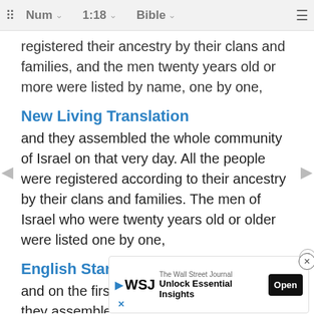Num  1:18  Bible
registered their ancestry by their clans and families, and the men twenty years old or more were listed by name, one by one,
New Living Translation
and they assembled the whole community of Israel on that very day. All the people were registered according to their ancestry by their clans and families. The men of Israel who were twenty years old or older were listed one by one,
English Standard Version
and on the first day of the second month, they assembled the whole congregation together, who registered themselves by clans, by fathers' houses, according to the number of names from twenty years
Berea
[Figure (screenshot): WSJ advertisement banner: The Wall Street Journal – Unlock Essential Insights – Open button]